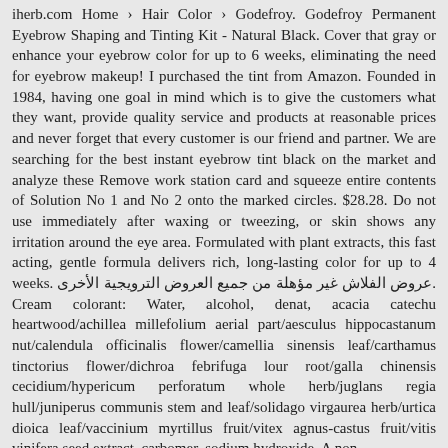iherb.com Home › Hair Color › Godefroy. Godefroy Permanent Eyebrow Shaping and Tinting Kit - Natural Black. Cover that gray or enhance your eyebrow color for up to 6 weeks, eliminating the need for eyebrow makeup! I purchased the tint from Amazon. Founded in 1984, having one goal in mind which is to give the customers what they want, provide quality service and products at reasonable prices and never forget that every customer is our friend and partner. We are searching for the best instant eyebrow tint black on the market and analyze these Remove work station card and squeeze entire contents of Solution No 1 and No 2 onto the marked circles. $28.28. Do not use immediately after waxing or tweezing, or skin shows any irritation around the eye area. Formulated with plant extracts, this fast acting, gentle formula delivers rich, long-lasting color for up to 4 weeks. عروض الفلاش غير مؤهلة من جميع العروض الترويجية الأخرى. Cream colorant: Water, alcohol, denat, acacia catechu heartwood/achillea millefolium aerial part/aesculus hippocastanum nut/calendula officinalis flower/camellia sinensis leaf/carthamus tinctorius flower/dichroa febrifuga lour root/galla chinensis cecidium/hypericum perforatum whole herb/juglans regia hull/juniperus communis stem and leaf/solidago virgaurea herb/urtica dioica leaf/vaccinium myrtillus fruit/vitex agnus-castus fruit/vitis vinifera seed extract, carbomer, sodium hydroxide. A non-